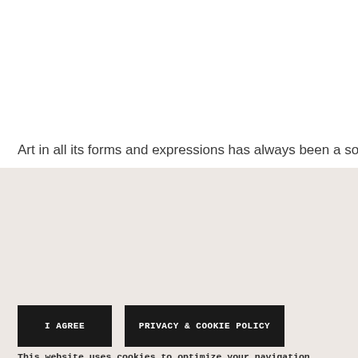Art in all its forms and expressions has always been a source of
This website uses cookies to optimize your navigation experience. If you would like to find out more, or to refuse to give your consent to all or any of the cookies used by the site, visit our cookie policy page. If you continue navigating or access any element below this banner, you will be taken to have consented to the use of cookies.
I AGREE
PRIVACY & COOKIE POLICY